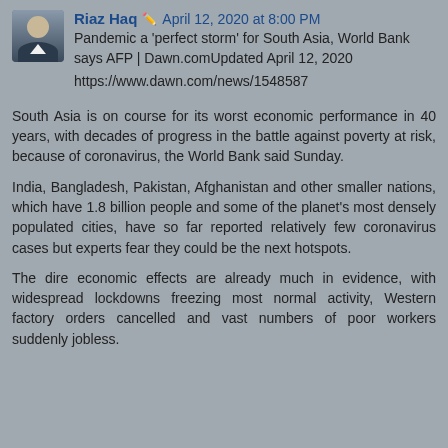Riaz Haq  April 12, 2020 at 8:00 PM
Pandemic a 'perfect storm' for South Asia, World Bank says AFP | Dawn.comUpdated April 12, 2020
https://www.dawn.com/news/1548587
South Asia is on course for its worst economic performance in 40 years, with decades of progress in the battle against poverty at risk, because of coronavirus, the World Bank said Sunday.
India, Bangladesh, Pakistan, Afghanistan and other smaller nations, which have 1.8 billion people and some of the planet's most densely populated cities, have so far reported relatively few coronavirus cases but experts fear they could be the next hotspots.
The dire economic effects are already much in evidence, with widespread lockdowns freezing most normal activity, Western factory orders cancelled and vast numbers of poor workers suddenly jobless.